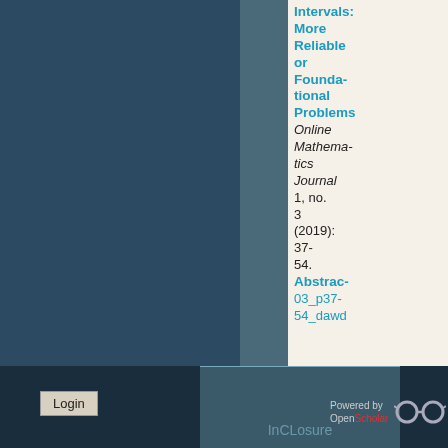[Figure (screenshot): Website screenshot showing a journal article listing. Left and center areas are dark blue/slate colored panels. Right side shows article metadata text.]
Intervals: More Reliable or Foundational Problems
Online Mathematics Journal 1, no. 3 (2019): 37-54.
Abstract
03_p37-54_dawd
Login
InCLosure
Powered by OpenScholar